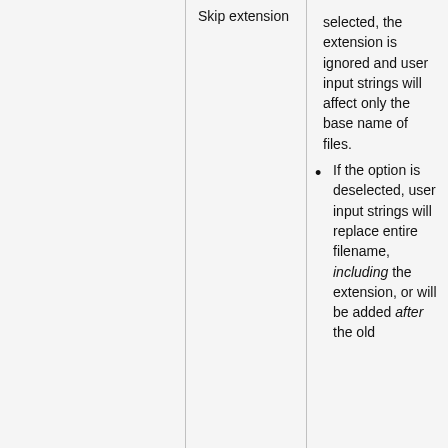|  | Skip extension | selected, the extension is ignored and user input strings will affect only the base name of files.
If the option is deselected, user input strings will replace entire filename, including the extension, or will be added after the old |